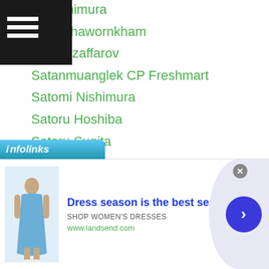asa Ichimura
awut Thawornkham
dor Muzaffarov
Satanmuanglek CP Freshmart
Satomi Nishimura
Satoru Hoshiba
Satoru Sugita
Satoru Todaka
Satoshi Hosono
Satoshi-ishii
Satoshi Ozawa
Satoshi Shimizu
Satoshi Tanaka
Satsuki Ito
Save Japan Boxing
Sa Ya Lee
[Figure (screenshot): Advertisement banner: Dress season is the best season - Shop Women's Dresses, www.landsend.com with infolinks branding]